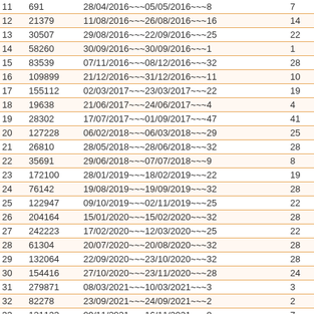|  |  |  |  |  |
| --- | --- | --- | --- | --- |
| 11 | 691 |  | 28/04/2016~~~05/05/2016~~~8 | 7 |
| 12 | 21379 |  | 11/08/2016~~~26/08/2016~~~16 | 14 |
| 13 | 30507 |  | 29/08/2016~~~22/09/2016~~~25 | 22 |
| 14 | 58260 |  | 30/09/2016~~~30/09/2016~~~1 | 1 |
| 15 | 83539 |  | 07/11/2016~~~08/12/2016~~~32 | 28 |
| 16 | 109899 |  | 21/12/2016~~~31/12/2016~~~11 | 10 |
| 17 | 155112 |  | 02/03/2017~~~23/03/2017~~~22 | 19 |
| 18 | 19638 |  | 21/06/2017~~~24/06/2017~~~4 | 4 |
| 19 | 28302 |  | 17/07/2017~~~01/09/2017~~~47 | 41 |
| 20 | 127228 |  | 06/02/2018~~~06/03/2018~~~29 | 25 |
| 21 | 26810 |  | 28/05/2018~~~28/06/2018~~~32 | 28 |
| 22 | 35691 |  | 29/06/2018~~~07/07/2018~~~9 | 8 |
| 23 | 172100 |  | 28/01/2019~~~18/02/2019~~~22 | 19 |
| 24 | 76142 |  | 19/08/2019~~~19/09/2019~~~32 | 28 |
| 25 | 122947 |  | 09/10/2019~~~02/11/2019~~~25 | 22 |
| 26 | 204164 |  | 15/01/2020~~~15/02/2020~~~32 | 28 |
| 27 | 242223 |  | 17/02/2020~~~12/03/2020~~~25 | 22 |
| 28 | 61304 |  | 20/07/2020~~~20/08/2020~~~32 | 28 |
| 29 | 132064 |  | 22/09/2020~~~23/10/2020~~~32 | 28 |
| 30 | 154416 |  | 27/10/2020~~~23/11/2020~~~28 | 24 |
| 31 | 279871 |  | 08/03/2021~~~10/03/2021~~~3 | 3 |
| 32 | 82278 |  | 23/09/2021~~~24/09/2021~~~2 | 2 |
| 33 | 121123 |  | 09/11/2021~~~16/11/2021~~~8 | 7 |
| 34 | 184899 |  | 18/01/2022~~~18/02/2022~~~32 | 28 |
| 35 | 223868 |  | 21/02/2022~~~24/03/2022~~~32 | 28 |